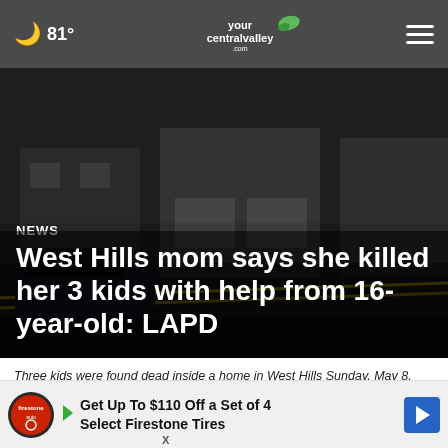🌙 81° | yourcentralvalley.com | ≡
[Figure (photo): Dark nighttime photo of a residential neighborhood with police crime scene yellow tape and a police vehicle visible in front of a house]
NEWS
West Hills mom says she killed her 3 kids with help from 16-year-old: LAPD
Three kids were found dead inside a home in West Hills Sunday, May 8, 2022 (KTLA)
by: Er...
Posted...
Updat...
[Figure (other): Advertisement banner: Get Up To $110 Off a Set of 4 Select Firestone Tires, with Firestone auto logo and blue arrow icon]